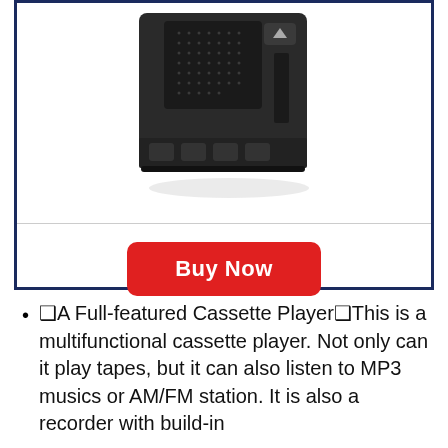[Figure (photo): Black portable cassette player/radio device shown from the front, with speaker grille and buttons visible, photographed on white background]
Buy Now
❑A Full-featured Cassette Player❑This is a multifunctional cassette player. Not only can it play tapes, but it can also listen to MP3 musics or AM/FM station. It is also a recorder with build-in